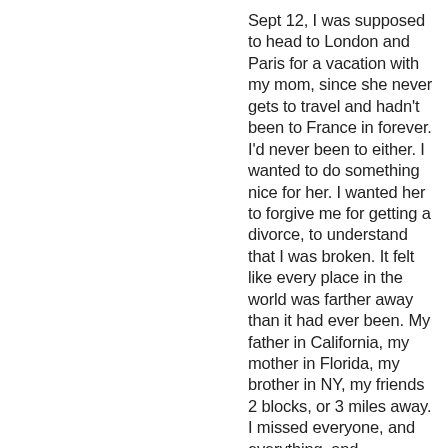Sept 12, I was supposed to head to London and Paris for a vacation with my mom, since she never gets to travel and hadn't been to France in forever. I'd never been to either. I wanted to do something nice for her. I wanted her to forgive me for getting a divorce, to understand that I was broken. It felt like every place in the world was farther away than it had ever been. My father in California, my mother in Florida, my brother in NY, my friends 2 blocks, or 3 miles away. I missed everyone, and everything, and